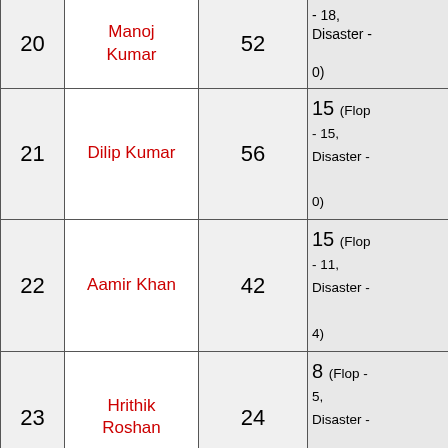| # | Actor | Total Films | Flops/Disasters |
| --- | --- | --- | --- |
| 20 | Manoj Kumar | 52 | 15 (Flop - 18, Disaster - 0) |
| 21 | Dilip Kumar | 56 | 15 (Flop - 15, Disaster - 0) |
| 22 | Aamir Khan | 42 | 15 (Flop - 11, Disaster - 4) |
| 23 | Hrithik Roshan | 24 | 8 (Flop - 5, Disaster - 3) |
|  |  |  |  |
Flops Count of Present New Generation Actors (Just for comparison)